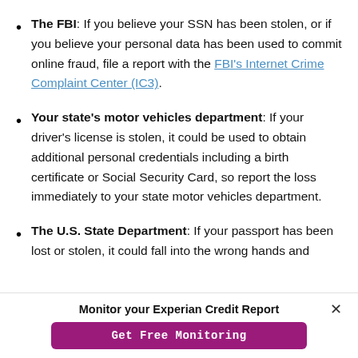The FBI: If you believe your SSN has been stolen, or if you believe your personal data has been used to commit online fraud, file a report with the FBI's Internet Crime Complaint Center (IC3).
Your state's motor vehicles department: If your driver's license is stolen, it could be used to obtain additional personal credentials including a birth certificate or Social Security Card, so report the loss immediately to your state motor vehicles department.
The U.S. State Department: If your passport has been lost or stolen, it could fall into the wrong hands and
Monitor your Experian Credit Report
Get Free Monitoring